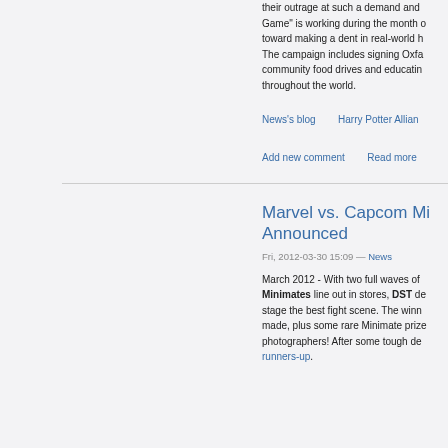their outrage at such a demand and... Game" is working during the month o... toward making a dent in real-world h... The campaign includes signing Oxfa... community food drives and educatin... throughout the world.
News's blog   Harry Potter Allian... Add new comment   Read more
Marvel vs. Capcom Mi... Announced
Fri, 2012-03-30 15:09 — News
March 2012 - With two full waves of Minimates line out in stores, DST de... stage the best fight scene. The winn... made, plus some rare Minimate prize... photographers! After some tough de... runners-up.